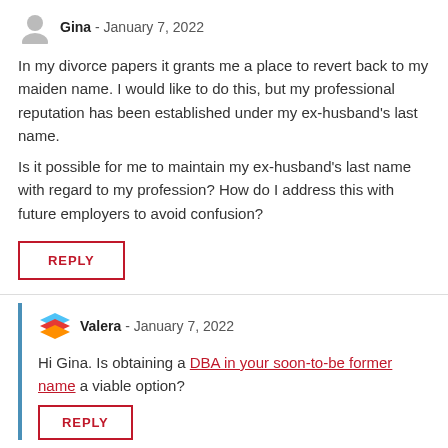Gina - January 7, 2022
In my divorce papers it grants me a place to revert back to my maiden name. I would like to do this, but my professional reputation has been established under my ex-husband's last name.
Is it possible for me to maintain my ex-husband's last name with regard to my profession? How do I address this with future employers to avoid confusion?
REPLY
Valera - January 7, 2022
Hi Gina. Is obtaining a DBA in your soon-to-be former name a viable option?
REPLY